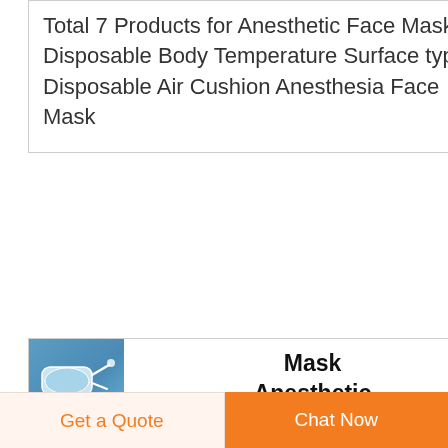Total 7 Products for Anesthetic Face Masks Disposable Body Temperature Surface type Disposable Air Cushion Anesthesia Face Mask
[Figure (photo): Small thumbnail image of an anesthetic face mask product on a blue background]
Mask Anesthetic Factory Custom Mask Anesthetic
Looking for mask anesthetic factory direct sale You can buy factory price mask anesthetic from a great list of reliable China mask anesthetic manufacturers suppliers
Get a Quote
Chat Now